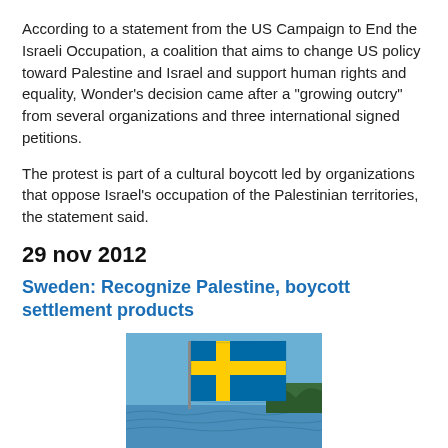According to a statement from the US Campaign to End the Israeli Occupation, a coalition that aims to change US policy toward Palestine and Israel and support human rights and equality, Wonder's decision came after a "growing outcry" from several organizations and three international signed petitions.
The protest is part of a cultural boycott led by organizations that oppose Israel's occupation of the Palestinian territories, the statement said.
29 nov 2012
Sweden: Recognize Palestine, boycott settlement products
[Figure (photo): Photo of a Swedish flag flying over water with a forested shoreline in the background under a blue sky.]
By Gabriel Wikström and Evin Incir
Today President Mahmoud Abbas will go before the UN General